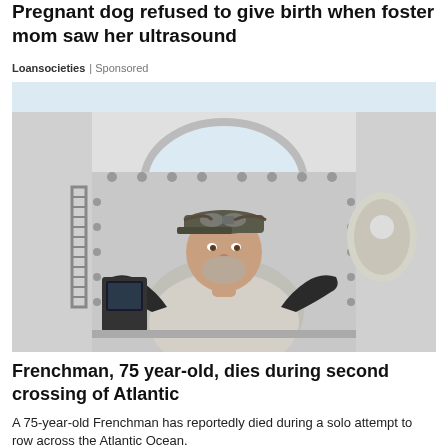Pregnant dog refused to give birth when foster mom saw her ultrasound
Loansocieties | Sponsored
[Figure (photo): An older man with a beard wearing a cap with goggles resting on it and a light grey t-shirt, standing inside what appears to be a small submersible or rowing vessel pod, with white walls and an oval hatch opening behind him. He holds equipment in both gloved hands.]
Frenchman, 75 year-old, dies during second crossing of Atlantic
A 75-year-old Frenchman has reportedly died during a solo attempt to row across the Atlantic Ocean.